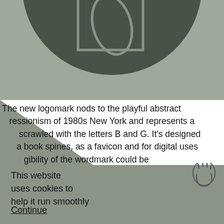[Figure (logo): Partial view of a circular dark gray logomark on a medium gray background, showing abstract shapes resembling letters B and G with a leaf/oval form inside a square bracket shape.]
The new logomark nods to the playful abstract expressionism of 1980s New York and represents a scrawled with the letters B and G. It's designed book spines, as a favicon and for digital uses gibility of the wordmark could be
This website uses cookies to help it run smoothly
Continue